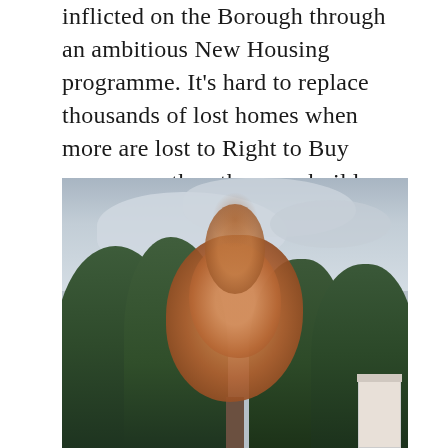inflicted on the Borough through an ambitious New Housing programme. It's hard to replace thousands of lost homes when more are lost to Right to Buy every year than they can build, something that only they gave no thought to before demolishing so many.
[Figure (photo): Outdoor photograph of trees against an overcast grey sky. In the foreground is a tree with brown/orange autumn-coloured or dying foliage, surrounded by lusher dark green trees on either side. A glimpse of a white building is visible at the bottom right.]